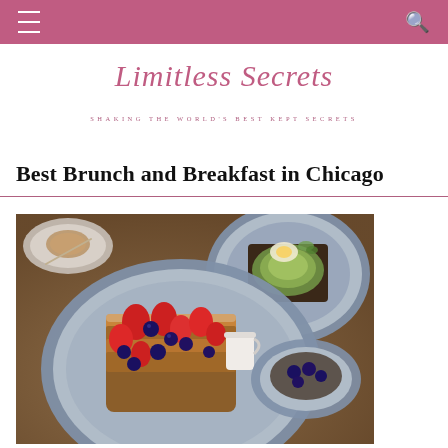☰  🔍
Limitless Secrets
Shaking the World's Best Kept Secrets
Best Brunch and Breakfast in Chicago
[Figure (photo): Overhead photo of brunch dishes on a wooden table: a large blue-patterned plate with French toast topped with strawberries and blueberries and a small creamer, an avocado toast on a blue plate in the top right, and a small bowl in the top left.]